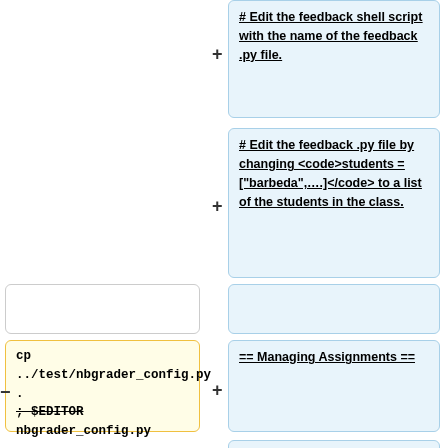+ # Edit the feedback shell script with the name of the feedback .py file.
+ # Edit the feedback .py file by changing <code>students = ["barbeda",....]</code> to a list of the students in the class.
- cp ../test/nbgrader_config.py . ; $EDITOR nbgrader_config.py
+ == Managing Assignments ==
+ === Preparing an Assignment ===
+ # Assignments can be found in the source directory within the course directory.